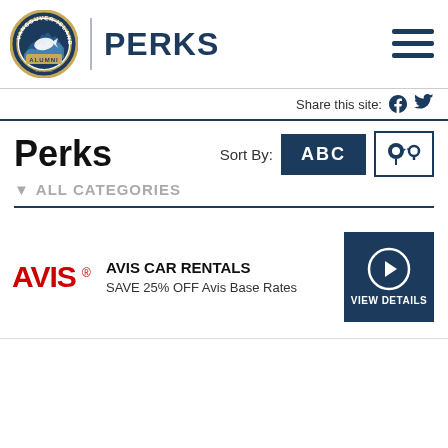[Figure (logo): Vancouver Island University Alumni circular badge logo with mountain/water graphic]
PERKS
[Figure (illustration): Hamburger menu icon (three horizontal lines)]
Share this site:
[Figure (logo): Twitter and Facebook social media icons]
Perks
Sort By:
ABC
[Figure (illustration): Map/location sort icon with pin and dotted path]
▼ ALL CATEGORIES
[Figure (logo): AVIS red logo]
AVIS CAR RENTALS
SAVE 25% OFF Avis Base Rates
[Figure (illustration): Dark blue VIEW DETAILS button with arrow circle icon]